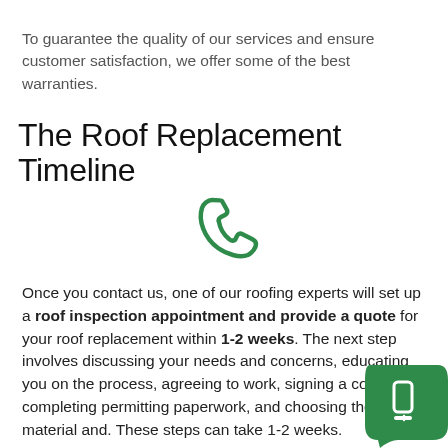To guarantee the quality of our services and ensure customer satisfaction, we offer some of the best warranties.
The Roof Replacement Timeline
[Figure (illustration): Green phone/call icon]
Once you contact us, one of our roofing experts will set up a roof inspection appointment and provide a quote for your roof replacement within 1-2 weeks. The next step involves discussing your needs and concerns, educating you on the process, agreeing to work, signing a contract, completing permitting paperwork, and choosing the roof material and. These steps can take 1-2 weeks.
[Figure (illustration): Green chat/mobile button widget in bottom right corner]